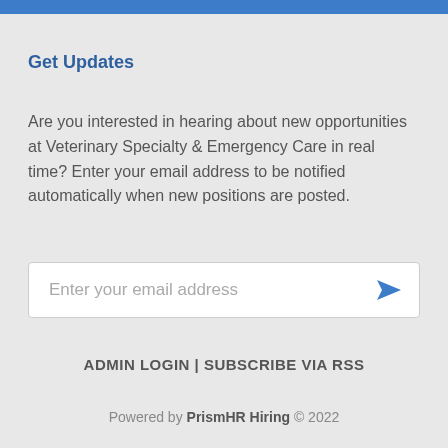Get Updates
Are you interested in hearing about new opportunities at Veterinary Specialty & Emergency Care in real time? Enter your email address to be notified automatically when new positions are posted.
Enter your email address
ADMIN LOGIN | SUBSCRIBE VIA RSS
Powered by PrismHR Hiring © 2022